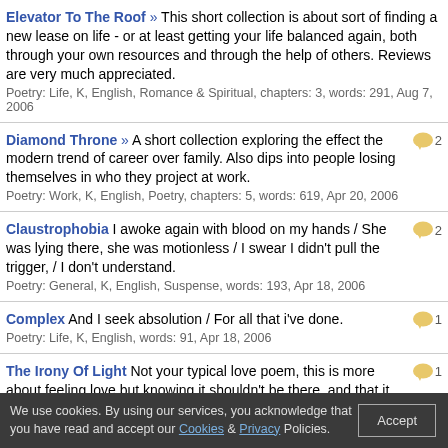Elevator To The Roof » This short collection is about sort of finding a new lease on life - or at least getting your life balanced again, both through your own resources and through the help of others. Reviews are very much appreciated.
Poetry: Life, K, English, Romance & Spiritual, chapters: 3, words: 291, Aug 7, 2006
Diamond Throne » A short collection exploring the effect the modern trend of career over family. Also dips into people losing themselves in who they project at work.
Poetry: Work, K, English, Poetry, chapters: 5, words: 619, Apr 20, 2006 [2 comments]
Claustrophobia I awoke again with blood on my hands / She was lying there, she was motionless / I swear I didn't pull the trigger, / I don't understand.
Poetry: General, K, English, Suspense, words: 193, Apr 18, 2006 [2 comments]
Complex And I seek absolution / For all that i've done.
Poetry: Life, K, English, words: 91, Apr 18, 2006 [1 comment]
The Irony Of Light Not your typical love poem, this is more about feeling love but knowing it shouldn't be there, and that it has to go. Written ages ago, recently dug it up, it is still good though.
Poetry: Love, K, English, words: 62, Apr 17, 2006 [1 comment]
A Desire To Have Is Killed By A Desire To Be And in a way, i wish i was like you..
Poetry: Life, K, English, words: 82, Apr 6, 2006 [1 comment]
We use cookies. By using our services, you acknowledge that you have read and accept our Cookies & Privacy Policies.